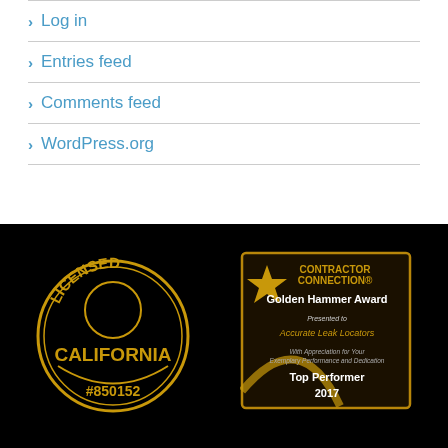Log in
Entries feed
Comments feed
WordPress.org
[Figure (illustration): California Licensed badge (circular gold seal on black background) with text LICENSED CALIFORNIA #850152]
[Figure (illustration): Contractor Connection Golden Hammer Award plaque presented to Accurate Leak Locators, Top Performer 2017]